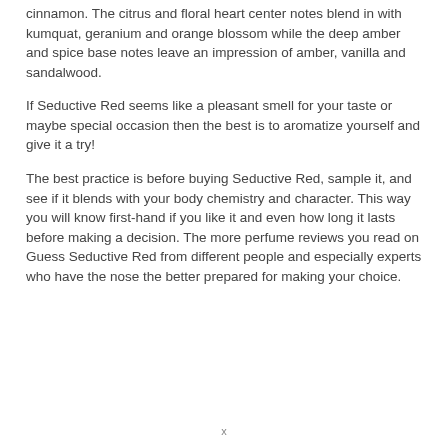cinnamon. The citrus and floral heart center notes blend in with kumquat, geranium and orange blossom while the deep amber and spice base notes leave an impression of amber, vanilla and sandalwood.
If Seductive Red seems like a pleasant smell for your taste or maybe special occasion then the best is to aromatize yourself and give it a try!
The best practice is before buying Seductive Red, sample it, and see if it blends with your body chemistry and character. This way you will know first-hand if you like it and even how long it lasts before making a decision. The more perfume reviews you read on Guess Seductive Red from different people and especially experts who have the nose the better prepared for making your choice.
x